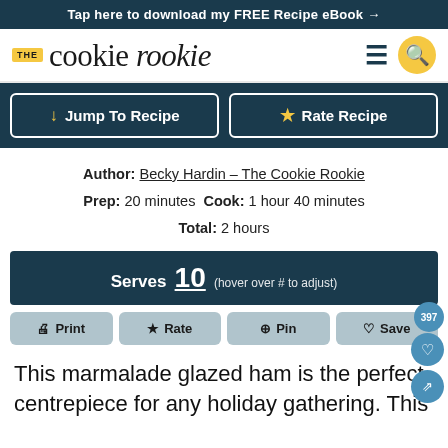Tap here to download my FREE Recipe eBook →
[Figure (logo): The Cookie Rookie logo with yellow THE badge and script text]
Jump To Recipe | Rate Recipe
Author: Becky Hardin – The Cookie Rookie
Prep: 20 minutes  Cook: 1 hour 40 minutes
Total: 2 hours
Serves 10 (hover over # to adjust)
Print | Rate | Pin | Save 397
This marmalade glazed ham is the perfect centrepiece for any holiday gathering. This